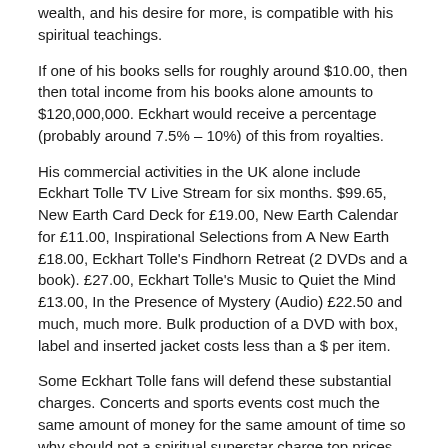wealth, and his desire for more, is compatible with his spiritual teachings.
If one of his books sells for roughly around $10.00, then then total income from his books alone amounts to $120,000,000. Eckhart would receive a percentage (probably around 7.5% – 10%) of this from royalties.
His commercial activities in the UK alone include Eckhart Tolle TV Live Stream for six months. $99.65, New Earth Card Deck for £19.00, New Earth Calendar for £11.00, Inspirational Selections from A New Earth £18.00, Eckhart Tolle's Findhorn Retreat (2 DVDs and a book). £27.00, Eckhart Tolle's Music to Quiet the Mind £13.00, In the Presence of Mystery (Audio) £22.50 and much, much more. Bulk production of a DVD with box, label and inserted jacket costs less than a $ per item.
Some Eckhart Tolle fans will defend these substantial charges. Concerts and sports events cost much the same amount of money for the same amount of time so why should not a spiritual superstar charge top prices for admission? There is a difference. And it is a big difference. Entertainers and sports stars do not offer spiritual teachings on letting go, dropping desire, living without attachment, trusting in the now and enlightenment.
Data on Eckhart Tolle Foundation, classified as a religious